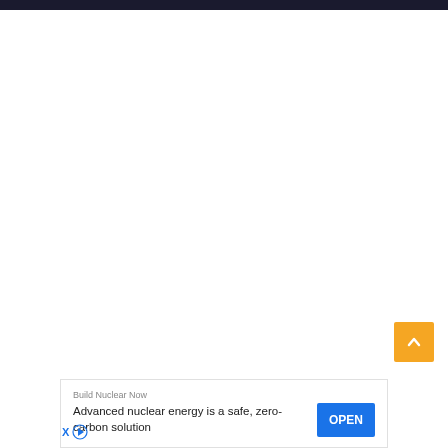[Figure (other): Scroll to top button - orange square with white upward arrow chevron]
Build Nuclear Now
Advanced nuclear energy is a safe, zero-carbon solution
OPEN